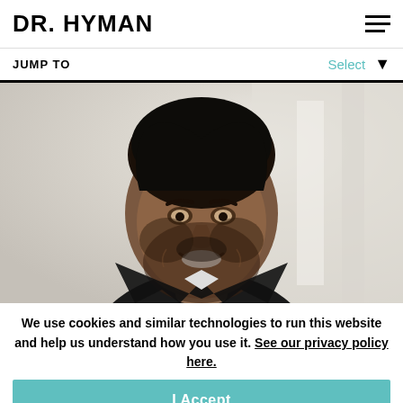DR. HYMAN
JUMP TO   Select ↓
[Figure (photo): Portrait of a smiling man with dark hair and beard wearing a black leather jacket and white t-shirt, photographed against a light blurred background]
We use cookies and similar technologies to run this website and help us understand how you use it. See our privacy policy here.
I Accept